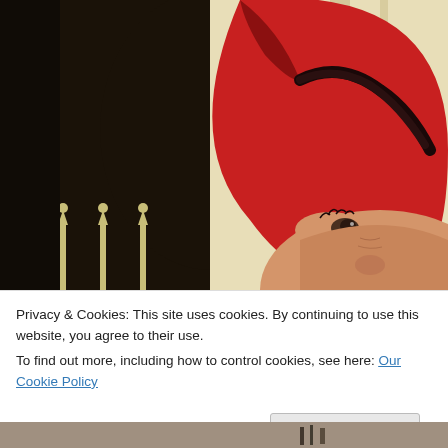[Figure (photo): Close-up photo of a person wearing a red hat with black trim, looking upward, standing in front of a classical building with iron fence posts visible on the left side.]
Privacy & Cookies: This site uses cookies. By continuing to use this website, you agree to their use.
To find out more, including how to control cookies, see here: Our Cookie Policy
Close and accept
[Figure (photo): Partial view of another photo at the bottom of the page, showing a grey/brown surface with a dark object.]